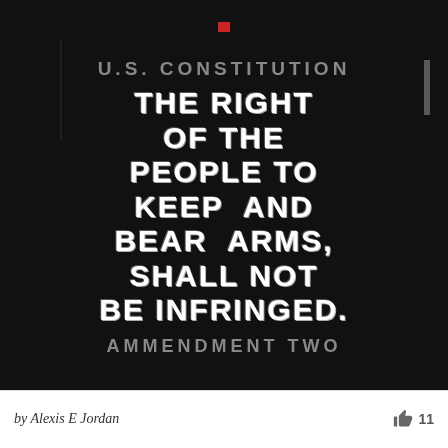[Figure (photo): A black t-shirt laid flat, displaying text from the U.S. Constitution Second Amendment. The shirt reads 'U.S. CONSTITUTION' at the top in gray, then in large white distressed font: 'THE RIGHT OF THE PEOPLE TO KEEP AND BEAR ARMS, SHALL NOT BE INFRINGED.' followed by 'AMMENDMENT TWO' in gray at the bottom.]
by Alexis E Jordan
11